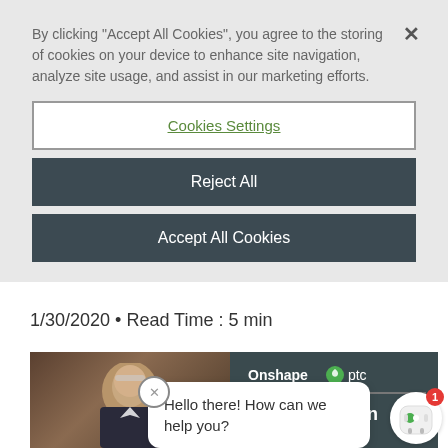By clicking "Accept All Cookies", you agree to the storing of cookies on your device to enhance site navigation, analyze site usage, and assist in our marketing efforts.
Cookies Settings
Reject All
Accept All Cookies
1/30/2020 • Read Time : 5 min
[Figure (photo): Screenshot of a webpage showing a cookie consent banner overlaid on an article page. Below the banner is a date/read time indicator and a partial view of an article about '5 Questions on CA' with a person in the image and an Onshape/PTC branding. A chatbot bubble says 'Hello there! How can we help you?']